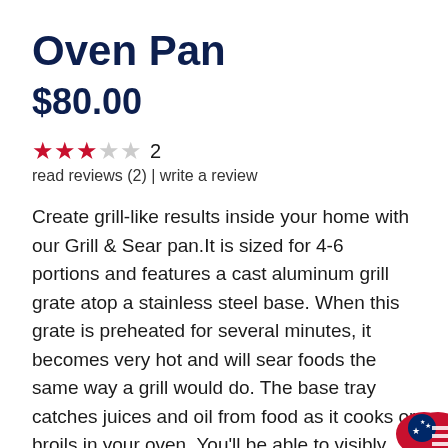Oven Pan
$80.00
★★★☆☆ 2
read reviews (2) | write a review
Create grill-like results inside your home with our Grill & Sear pan.It is sized for 4-6 portions and features a cast aluminum grill grate atop a stainless steel base. When this grate is preheated for several minutes, it becomes very hot and will sear foods the same way a grill would do. The base tray catches juices and oil from food as it cooks or broils in your oven. You'll be able to visibly see browned grill marks on your food,